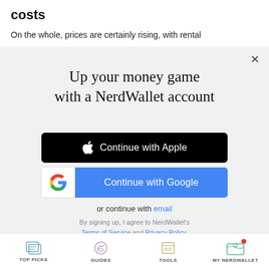costs
On the whole, prices are certainly rising, with rental
[Figure (screenshot): NerdWallet sign-up modal with 'Up your money game with a NerdWallet account' heading, Continue with Apple button, Continue with Google button, or continue with email option, and terms of service text]
TOP PICKS   GUIDES   TOOLS   MY NERDWALLET